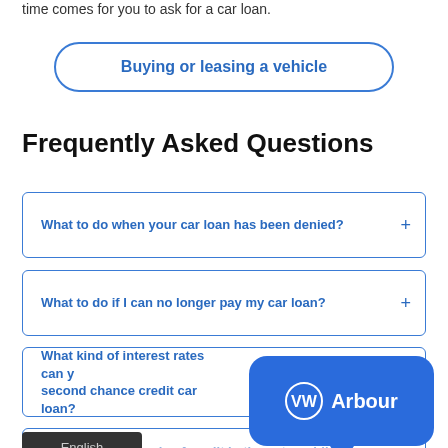time comes for you to ask for a car loan.
Buying or leasing a vehicle
Frequently Asked Questions
What to do when your car loan has been denied?
What to do if I can no longer pay my car loan?
What kind of interest rates can y... second chance credit car loan?
What are the 3 levels of credit in the automobile
[Figure (logo): VW Arbour logo in a blue speech bubble tooltip]
English